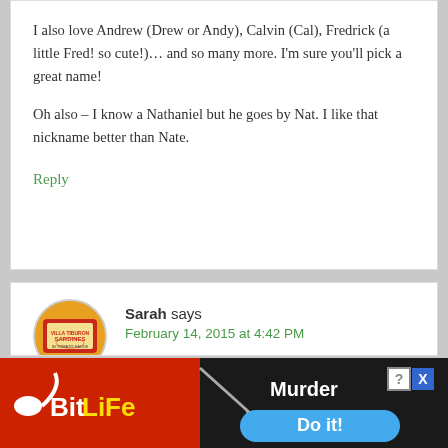I also love Andrew (Drew or Andy), Calvin (Cal), Fredrick (a little Fred! so cute!)… and so many more. I'm sure you'll pick a great name!
Oh also – I know a Nathaniel but he goes by Nat. I like that nickname better than Nate.
Reply
Sarah says
February 14, 2015 at 4:42 PM
Since William August is my favorite potential choice for a second son, I'll share my first son's
[Figure (illustration): Advertisement banner for BitLife mobile game showing red background with sperm icon, BitLife logo, a dark panel with 'Murder' text and 'Do it!' blue button]